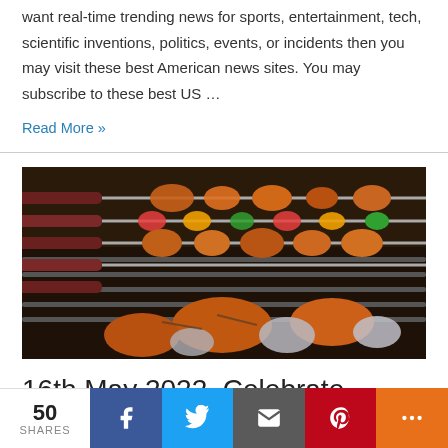want real-time trending news for sports, entertainment, tech, scientific inventions, politics, events, or incidents then you may visit these best American news sites. You may subscribe to these best US …
Read More »
[Figure (photo): Grilled chicken and vegetable skewers on a barbecue grill with metal skewers and foil-wrapped pieces]
16th May 2022, Celebrate
50 SHARES — social share bar with Facebook, Twitter, Email, Pinterest, More buttons